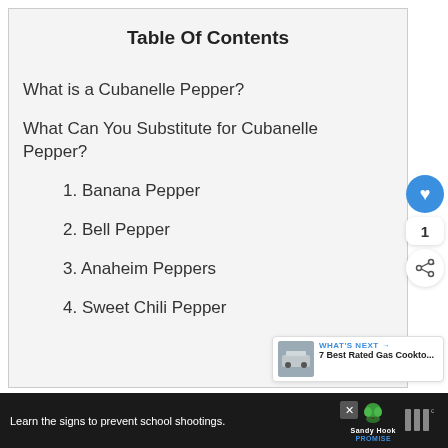Table Of Contents
What is a Cubanelle Pepper?
What Can You Substitute for Cubanelle Pepper?
1. Banana Pepper
2. Bell Pepper
3. Anaheim Peppers
4. Sweet Chili Pepper
WHAT'S NEXT → 7 Best Rated Gas Cookto...
Learn the signs to prevent school shootings. Sandy Hook PROMISE